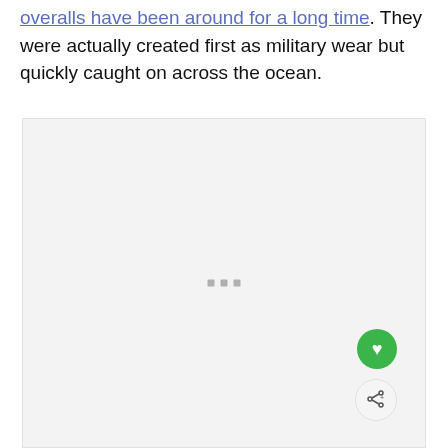overalls have been around for a long time. They were actually created first as military wear but quickly caught on across the ocean.
[Figure (other): A light gray placeholder image box with three small gray square dots centered in the lower half, and two circular action buttons (heart/favorite in green, share in light gray) in the bottom-right corner.]